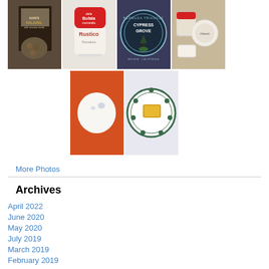[Figure (photo): Grid of 6 food product photos: falafel bag, Rustico/Bufala mozzarella, Cypress Grove cheese label, small containers, a white egg/ball on orange background, decorative plate with food]
More Photos
Archives
April 2022
June 2020
May 2020
July 2019
March 2019
February 2019
July 2018
March 2018